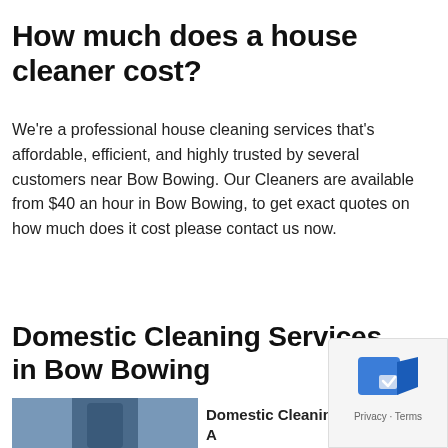How much does a house cleaner cost?
We're a professional house cleaning services that's affordable, efficient, and highly trusted by several customers near Bow Bowing. Our Cleaners are available from $40 an hour in Bow Bowing, to get exact quotes on how much does it cost please contact us now.
Domestic Cleaning Services in Bow Bowing
[Figure (photo): Photo of a person in cleaning uniform, partially visible at bottom left]
Domestic Cleaning Service : A